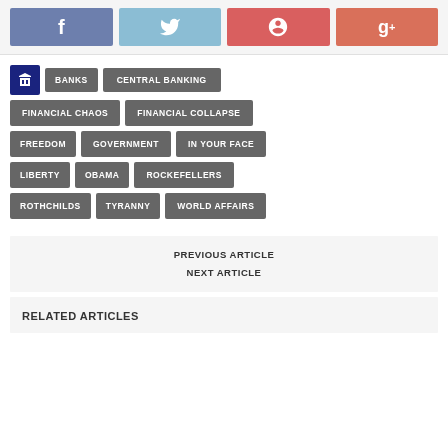[Figure (other): Social share buttons: Facebook (blue), Twitter (light blue), Pinterest (red), Google+ (coral red)]
BANKS
CENTRAL BANKING
FINANCIAL CHAOS
FINANCIAL COLLAPSE
FREEDOM
GOVERNMENT
IN YOUR FACE
LIBERTY
OBAMA
ROCKEFELLERS
ROTHCHILDS
TYRANNY
WORLD AFFAIRS
PREVIOUS ARTICLE
NEXT ARTICLE
RELATED ARTICLES